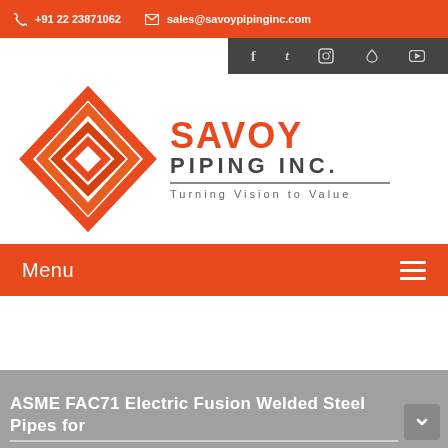+91 22 23871062   sales@savoypipinginc.com
[Figure (logo): Savoy Piping Inc. logo with orange diamond geometric icon and text 'SAVOY PIPING INC. Turning Vision to Value']
Menu
ASME FAC71 Electric Fusion Welded Steel Pipes for